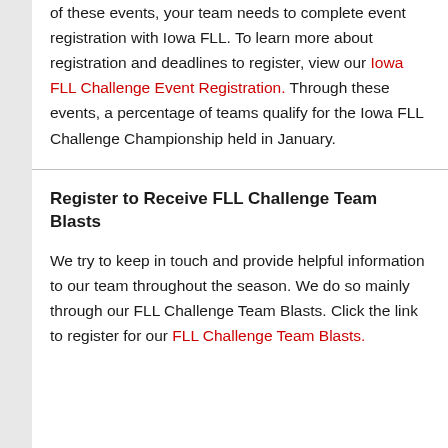of these events, your team needs to complete event registration with Iowa FLL. To learn more about registration and deadlines to register, view our Iowa FLL Challenge Event Registration. Through these events, a percentage of teams qualify for the Iowa FLL Challenge Championship held in January.
Register to Receive FLL Challenge Team Blasts
We try to keep in touch and provide helpful information to our team throughout the season. We do so mainly through our FLL Challenge Team Blasts. Click the link to register for our FLL Challenge Team Blasts.